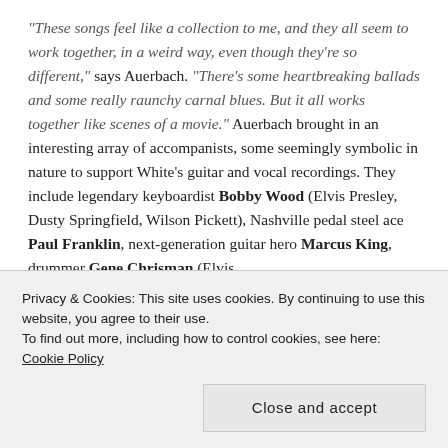“These songs feel like a collection to me, and they all seem to work together, in a weird way, even though they’re so different,” says Auerbach. “There’s some heartbreaking ballads and some really raunchy carnal blues. But it all works together like scenes of a movie.” Auerbach brought in an interesting array of accompanists, some seemingly symbolic in nature to support White’s guitar and vocal recordings. They include legendary keyboardist Bobby Wood (Elvis Presley, Dusty Springfield, Wilson Pickett), Nashville pedal steel ace Paul Franklin, next-generation guitar hero Marcus King, drummer Gene Chrisman (Elvis
Privacy & Cookies: This site uses cookies. By continuing to use this website, you agree to their use. To find out more, including how to control cookies, see here: Cookie Policy
Close and accept
Fishing songs have long been the subject of many a blues